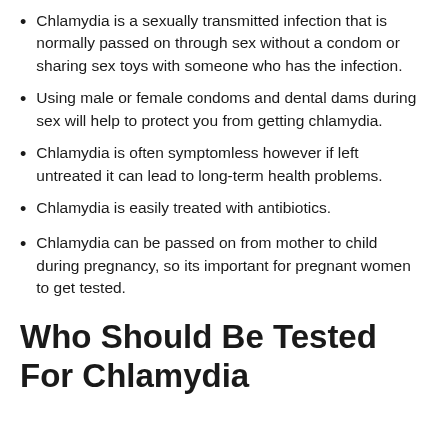Chlamydia is a sexually transmitted infection that is normally passed on through sex without a condom or sharing sex toys with someone who has the infection.
Using male or female condoms and dental dams during sex will help to protect you from getting chlamydia.
Chlamydia is often symptomless however if left untreated it can lead to long-term health problems.
Chlamydia is easily treated with antibiotics.
Chlamydia can be passed on from mother to child during pregnancy, so its important for pregnant women to get tested.
Who Should Be Tested For Chlamydia